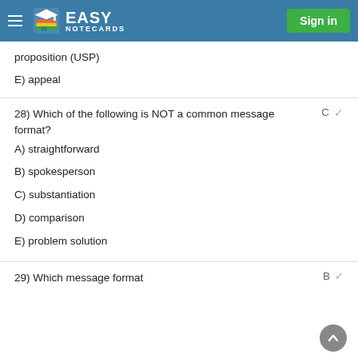EASY NOTECARDS — Sign in
proposition (USP)
E) appeal
28) Which of the following is NOT a common message format?   C   ✓
A) straightforward
B) spokesperson
C) substantiation
D) comparison
E) problem solution
29) Which message format   B   ✓